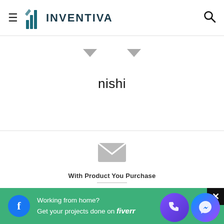INVENTIVA
nishi
[Figure (other): Envelope/mail icon (grey)]
With Product You Purchase
Subscribe to our mailing list to get the new updates!
[Figure (other): Working from home? Get your projects done on fiverr - advertisement banner with Facebook icon]
[Figure (other): Messenger chat bubble circle icon]